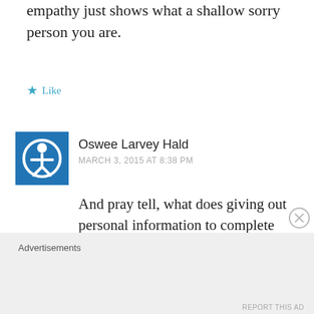empathy just shows what a shallow sorry person you are.
★ Like
Oswee Larvey Hald
MARCH 3, 2015 AT 8:38 PM
And pray tell, what does giving out personal information to complete strangers indicate about a person?
Advertisements
REPORT THIS AD